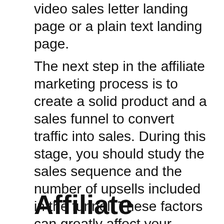video sales letter landing page or a plain text landing page.
The next step in the affiliate marketing process is to create a solid product and a sales funnel to convert traffic into sales. During this stage, you should study the sales sequence and the number of upsells included in the funnel. These factors can greatly affect your affiliate earnings and conversion rate. To convert visitors into paying customers, the sales funnel should be optimized. Once your affiliate sales start generating revenue, it's time to scale your business.
Affiliate Marketing